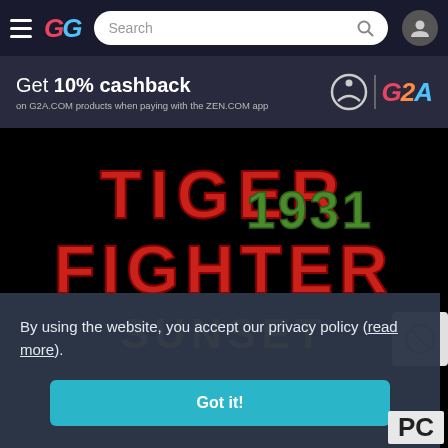[Figure (screenshot): G2A.com website navigation bar with hamburger menu, GG logo, search bar, and user account icon]
[Figure (screenshot): Banner advertising Get 10% cashback on G2A.COM products when paying with the ZEN.COM app, with ZEN and G2A logos]
[Figure (screenshot): Tiger Fighter 1931 Sunset game logo on black background with red and green stylized text]
By using the website, you accept our privacy policy (read more).
[Figure (screenshot): Got it! button in teal/cyan color for accepting cookie/privacy policy]